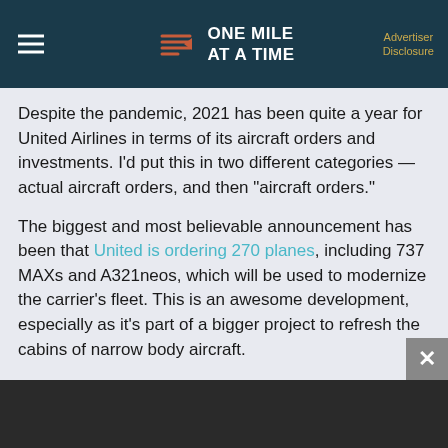ONE MILE AT A TIME — Advertiser Disclosure
Despite the pandemic, 2021 has been quite a year for United Airlines in terms of its aircraft orders and investments. I'd put this in two different categories — actual aircraft orders, and then "aircraft orders."
The biggest and most believable announcement has been that United is ordering 270 planes, including 737 MAXs and A321neos, which will be used to modernize the carrier's fleet. This is an awesome development, especially as it's part of a bigger project to refresh the cabins of narrow body aircraft.
[Figure (photo): Dark strip at bottom of page, appears to be an image partially visible]